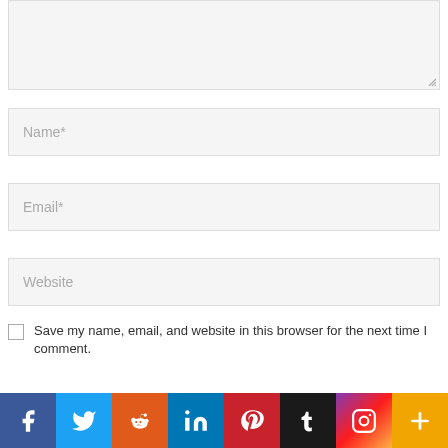[Figure (screenshot): A text area input box (empty/blank) with a resize handle in the bottom-right corner]
[Figure (screenshot): A text input field with placeholder text 'Name*']
[Figure (screenshot): A text input field with placeholder text 'Email*']
[Figure (screenshot): A text input field with placeholder text 'Website']
Save my name, email, and website in this browser for the next time I comment.
[Figure (infographic): Social media share bar with icons: Facebook (blue), Twitter (light blue), Reddit (orange), LinkedIn (dark blue), Pinterest (red), Tumblr (dark), Instagram (gradient), More/Plus (yellow-orange)]